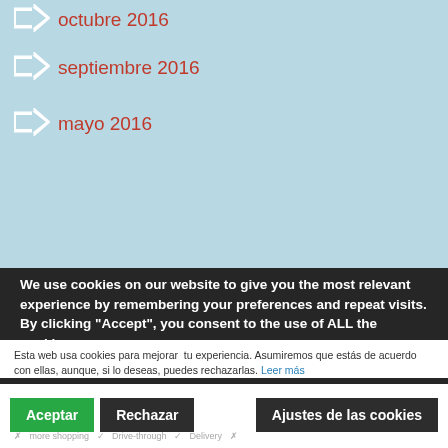octubre 2016
septiembre 2016
mayo 2016
We use cookies on our website to give you the most relevant experience by remembering your preferences and repeat visits. By clicking “Accept”, you consent to the use of ALL the cookies.
Esta web usa cookies para mejorar tu experiencia. Asumiremos que estás de acuerdo con ellas, aunque, si lo deseas, puedes rechazarlas. Leer más
Aceptar
Rechazar
Ajustes de las cookies